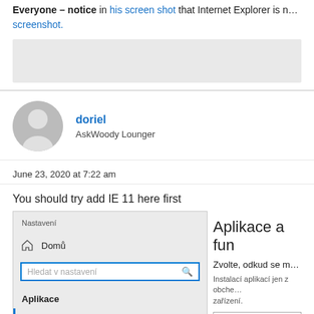Everyone – notice in his screen shot that Internet Explorer is n… screenshot.
[Figure (screenshot): Gray placeholder screenshot area]
doriel
AskWoody Lounger
June 23, 2020 at 7:22 am
You should try add IE 11 here first
[Figure (screenshot): Windows 10 Settings screenshot showing Nastavení panel with Domů, search box Hledat v nastavení, Aplikace section, Aplikace a funkce menu item on left; and Aplikace a fun… title, Zvolte, odkud se m… subtitle, Instalací aplikací jen z obch… description, Odkudkoli dropdown on right]